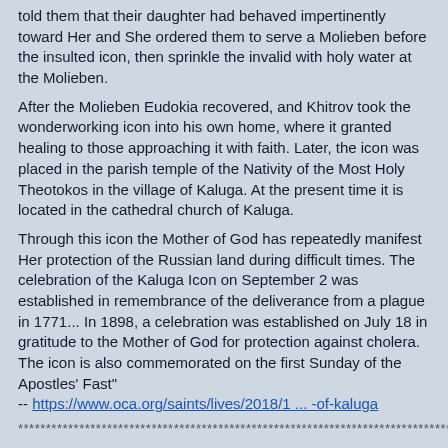told them that their daughter had behaved impertinently toward Her and She ordered them to serve a Molieben before the insulted icon, then sprinkle the invalid with holy water at the Molieben.
After the Molieben Eudokia recovered, and Khitrov took the wonderworking icon into his own home, where it granted healing to those approaching it with faith. Later, the icon was placed in the parish temple of the Nativity of the Most Holy Theotokos in the village of Kaluga. At the present time it is located in the cathedral church of Kaluga.
Through this icon the Mother of God has repeatedly manifest Her protection of the Russian land during difficult times. The celebration of the Kaluga Icon on September 2 was established in remembrance of the deliverance from a plague in 1771... In 1898, a celebration was established on July 18 in gratitude to the Mother of God for protection against cholera.
The icon is also commemorated on the first Sunday of the Apostles' Fast" -- https://www.oca.org/saints/lives/2018/1 ... -of-kaluga
******************************************************************************
Narrative of Simeon Ivanovich Yanovsky from previous post continues here : "I went together with my wife at that time to Kaluga in order to have a moleben served and venerate the wonder-working Kaluga Icon of the Mother of God, which had then been brought back to Kaluga.